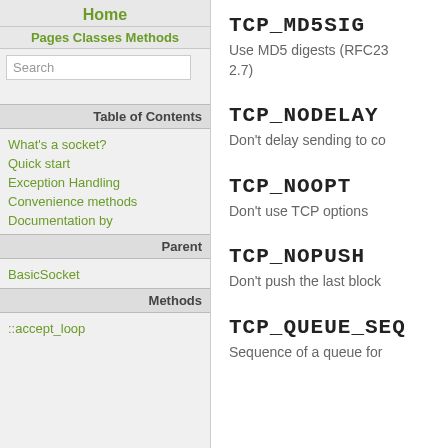Home
Pages Classes Methods
Search
Table of Contents
What's a socket?
Quick start
Exception Handling
Convenience methods
Documentation by
Parent
BasicSocket
Methods
::accept_loop
TCP_MD5SIG
Use MD5 digests (RFC23 2.7)
TCP_NODELAY
Don't delay sending to co
TCP_NOOPT
Don't use TCP options
TCP_NOPUSH
Don't push the last block
TCP_QUEUE_SEQ
Sequence of a queue for